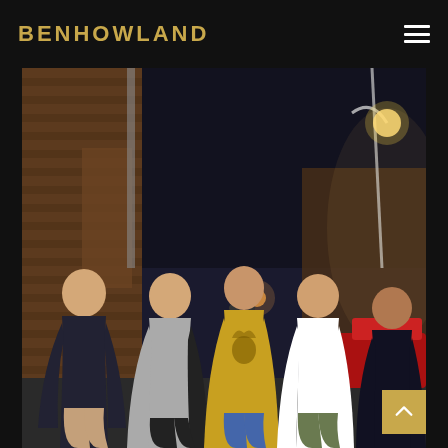BENHOWLAND
[Figure (photo): Five young men standing in an outdoor urban alley at night. Brick wall on the left, street lamp illuminating the scene. From left to right: man in dark v-neck shirt, man in grey shirt, man in yellow t-shirt with wolf graphic, man in white t-shirt, man in black clothing. A red vehicle is partially visible on the right.]